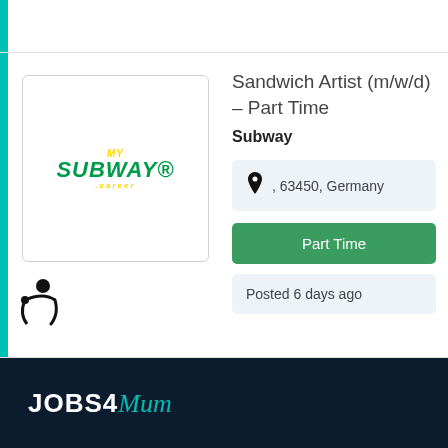Posted 1 week ago
Sandwich Artist (m/w/d) – Part Time
Subway
, 63450, Germany
Part Time
Posted 6 days ago
JOBS4Mum